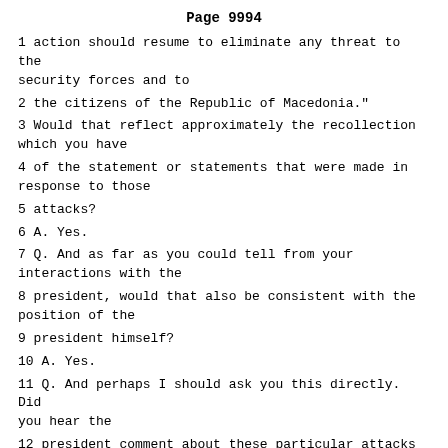Page 9994
1 action should resume to eliminate any threat to the security forces and to
2 the citizens of the Republic of Macedonia."
3 Would that reflect approximately the recollection which you have
4 of the statement or statements that were made in response to those
5 attacks?
6 A. Yes.
7 Q. And as far as you could tell from your interactions with the
8 president, would that also be consistent with the position of the
9 president himself?
10 A. Yes.
11 Q. And perhaps I should ask you this directly. Did you hear the
12 president comment about these particular attacks in your presence, either